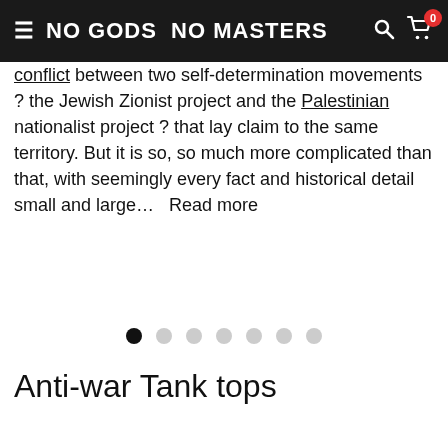NO GODS NO MASTERS
conflict between two self-determination movements ? the Jewish Zionist project and the Palestinian nationalist project ? that lay claim to the same territory. But it is so, so much more complicated than that, with seemingly every fact and historical detail small and large…  Read more
[Figure (other): Carousel pagination dots — 7 dots with the first filled black and the remaining 6 grey]
Anti-war Tank tops